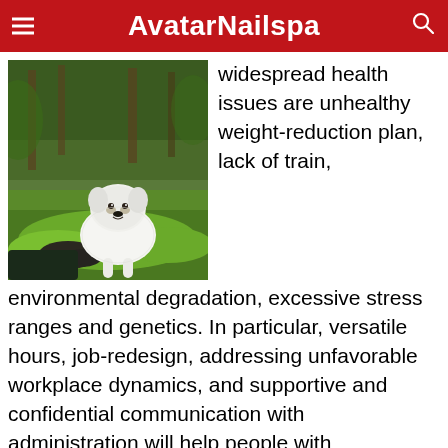AvatarNailspa
[Figure (photo): A white West Highland Terrier dog sitting on mossy rocks in a lush green forest]
widespread health issues are unhealthy weight-reduction plan, lack of train, environmental degradation, excessive stress ranges and genetics. In particular, versatile hours, job-redesign, addressing unfavorable workplace dynamics, and supportive and confidential communication with administration will help people with psychological issues continue to or return to work. Diseases can affect folks not solely bodily, but also mentally, as contracting and residing with a illness can alter the affected